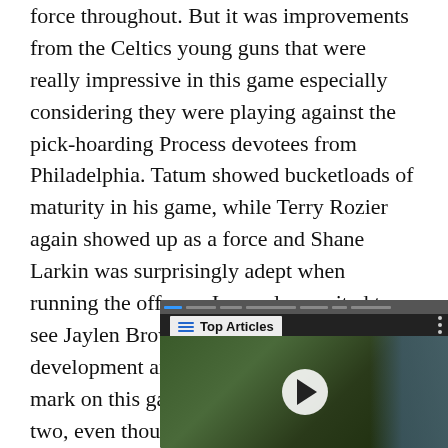force throughout. But it was improvements from the Celtics young guns that were really impressive in this game especially considering they were playing against the pick-hoarding Process devotees from Philadelphia. Tatum showed bucketloads of maturity in his game, while Terry Rozier again showed up as a force and Shane Larkin was surprisingly adept when running the offense. I was also excited to see Jaylen Brown continued to show his development and explosiveness, making his mark on this game as he did on the previous two, even though he had a haphazard shooting night and ultimately didn’t score that much.
[Figure (screenshot): Video player thumbnail showing a football player in green jersey, with a 'Top Articles' label and a play button in the center.]